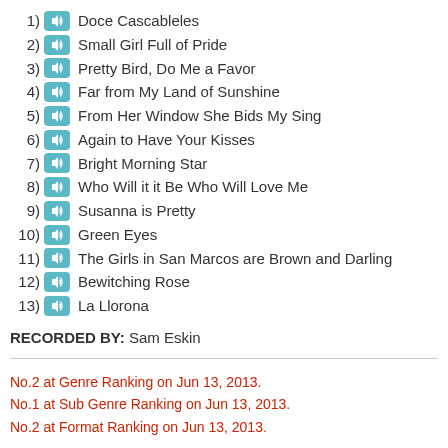1) Doce Cascableles
2) Small Girl Full of Pride
3) Pretty Bird, Do Me a Favor
4) Far from My Land of Sunshine
5) From Her Window She Bids My Sing
6) Again to Have Your Kisses
7) Bright Morning Star
8) Who Will it it Be Who Will Love Me
9) Susanna is Pretty
10) Green Eyes
11) The Girls in San Marcos are Brown and Darling
12) Bewitching Rose
13) La Llorona
RECORDED BY: Sam Eskin
No.2 at Genre Ranking on Jun 13, 2013.
No.1 at Sub Genre Ranking on Jun 13, 2013.
No.2 at Format Ranking on Jun 13, 2013.
>>List all items by Alonzo Cruz
>>List all items from Cook Records